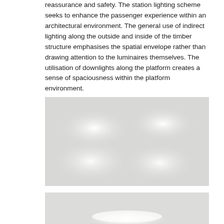reassurance and safety. The station lighting scheme seeks to enhance the passenger experience within an architectural environment. The general use of indirect lighting along the outside and inside of the timber structure emphasises the spatial envelope rather than drawing attention to the luminaires themselves. The utilisation of downlights along the platform creates a sense of spaciousness within the platform environment.
[Figure (photo): A washed-out/overexposed photograph of a station platform environment showing light fixtures or luminaires, rendered in very light grey tones.]
[Figure (photo): A partially visible photograph at the bottom of the page showing a glowing light source in a station platform environment, with a bright elongated illuminated area visible against a light background.]